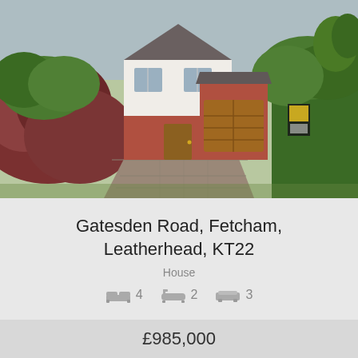[Figure (photo): Exterior photo of a detached red brick and white render house with wooden garage door, block paving driveway, hedges and shrubs in front, estate agent board visible on right side]
Gatesden Road, Fetcham, Leatherhead, KT22
House
4  2  3
£985,000